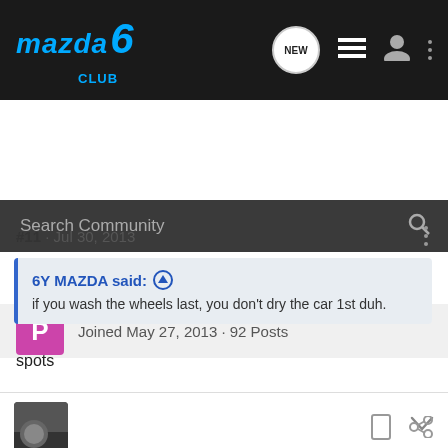[Figure (screenshot): Mazda6 Club forum top navigation bar with logo, search icon, new posts bubble, list icon, user icon, and three-dot menu]
Search Community
Joined May 27, 2013 · 92 Posts
#11 · Jul 30, 2013
6Y MAZDA said: ↑
if you wash the wheels last, you don't dry the car 1st duh.
spots